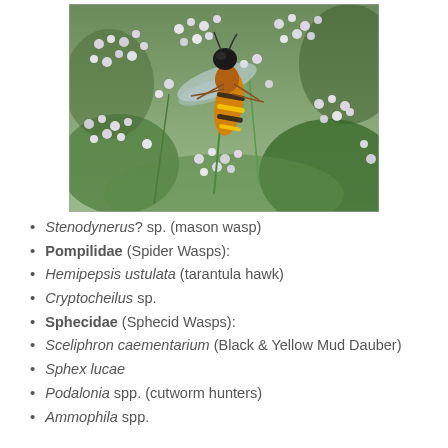[Figure (photo): A wasp (mason wasp or similar) with black head, orange body, and yellow-black striped abdomen perched on white small clustered flowers (possibly heather or similar shrub). The insect is shown in detail with wings visible.]
Stenodynerus? sp. (mason wasp)
Pompilidae (Spider Wasps):
Hemipepsis ustulata (tarantula hawk)
Cryptocheilus sp.
Sphecidae (Sphecid Wasps):
Sceliphron caementarium (Black & Yellow Mud Dauber)
Sphex lucae
Podalonia spp. (cutworm hunters)
Ammophila spp.